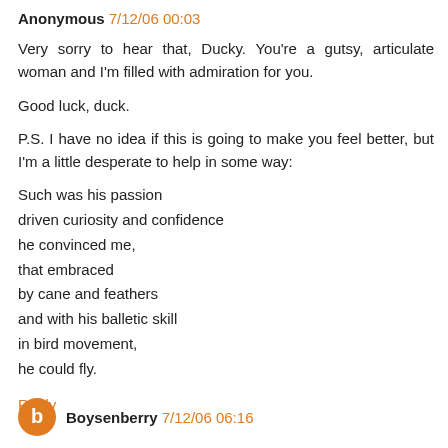Anonymous 7/12/06 00:03
Very sorry to hear that, Ducky. You're a gutsy, articulate woman and I'm filled with admiration for you.

Good luck, duck.

P.S. I have no idea if this is going to make you feel better, but I'm a little desperate to help in some way:
Such was his passion
driven curiosity and confidence
he convinced me,
that embraced
by cane and feathers
and with his balletic skill
in bird movement,
he could fly.
Reply
Boysenberry 7/12/06 06:16